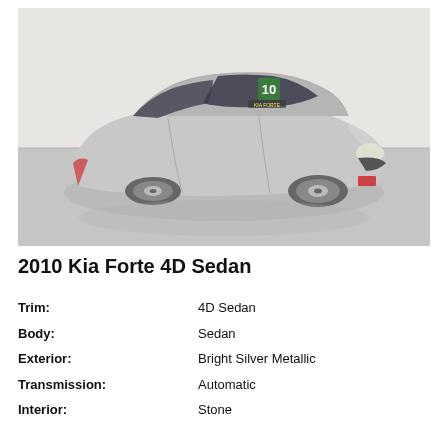[Figure (photo): Silver 2010 Kia Forte 4D Sedan photographed at a 3/4 front angle in a dealership showroom with grey flooring and white walls. A green year sticker '10' is visible on the windshield.]
2010 Kia Forte 4D Sedan
| Attribute | Value |
| --- | --- |
| Trim: | 4D Sedan |
| Body: | Sedan |
| Exterior: | Bright Silver Metallic |
| Transmission: | Automatic |
| Interior: | Stone |